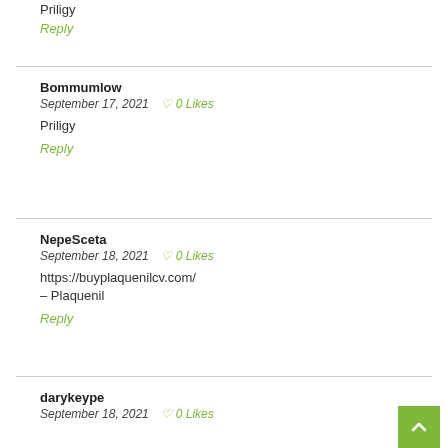Priligy
Reply
Bommumlow
September 17, 2021   0 Likes
Priligy
Reply
NepeSceta
September 18, 2021   0 Likes
https://buyplaquenilcv.com/ – Plaquenil
Reply
darykeype
September 18, 2021   0 Likes